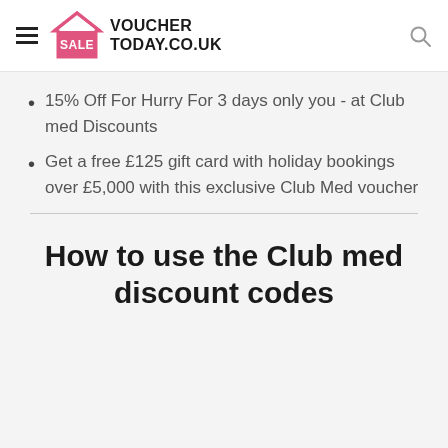VOUCHER TODAY.CO.UK
15% Off For Hurry For 3 days only you - at Club med Discounts
Get a free £125 gift card with holiday bookings over £5,000 with this exclusive Club Med voucher
How to use the Club med discount codes